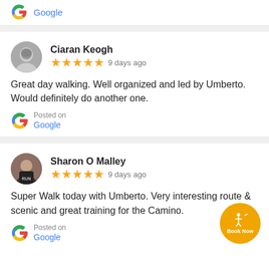[Figure (logo): Google G logo with 'Google' link text]
Ciaran Keogh
★★★★★ 9 days ago
Great day walking. Well organized and led by Umberto. Would definitely do another one.
Posted on Google
Sharon O Malley
★★★★★ 9 days ago
Super Walk today with Umberto. Very interesting route & scenic and great training for the Camino.
Posted on Google